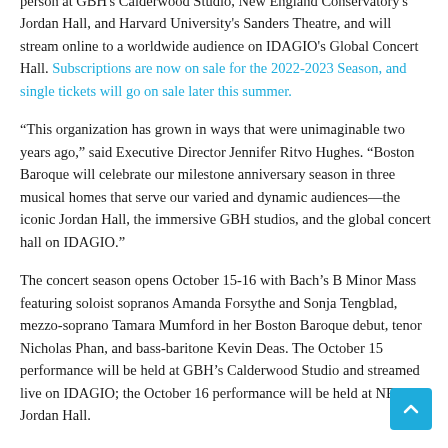person at GBH's Calderwood Studio, New England Conservatory's Jordan Hall, and Harvard University's Sanders Theatre, and will stream online to a worldwide audience on IDAGIO's Global Concert Hall. Subscriptions are now on sale for the 2022-2023 Season, and single tickets will go on sale later this summer.
“This organization has grown in ways that were unimaginable two years ago,” said Executive Director Jennifer Ritvo Hughes. “Boston Baroque will celebrate our milestone anniversary season in three musical homes that serve our varied and dynamic audiences—the iconic Jordan Hall, the immersive GBH studios, and the global concert hall on IDAGIO.”
The concert season opens October 15-16 with Bach’s B Minor Mass featuring soloist sopranos Amanda Forsythe and Sonja Tengblad, mezzo-soprano Tamara Mumford in her Boston Baroque debut, tenor Nicholas Phan, and bass-baritone Kevin Deas. The October 15 performance will be held at GBH's Calderwood Studio and streamed live on IDAGIO; the October 16 performance will be held at NEC's Jordan Hall.